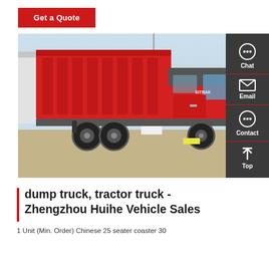Get a Quote
[Figure (photo): Red dump truck (SITRAK/SINOTRUK) parked in a lot, with white trucks visible in the background and a clear sky. Side view showing the large red dump bed and cab.]
dump truck, tractor truck - Zhengzhou Huihe Vehicle Sales
1 Unit (Min. Order) Chinese 25 seater coaster 30